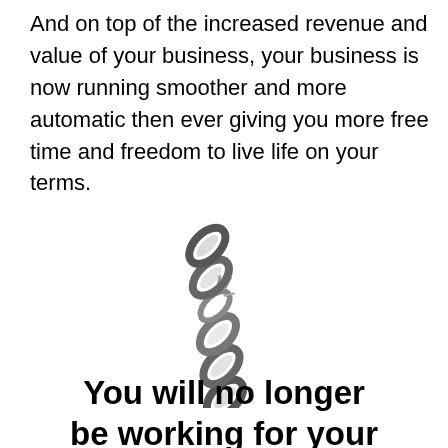And on top of the increased revenue and value of your business, your business is now running smoother and more automatic then ever giving you more free time and freedom to live life on your terms.
[Figure (illustration): A metal chain breaking apart at a link, shown in black and white / grayscale. The chain is diagonal, breaking at the center link with small fragments flying off.]
You will no longer be working for your